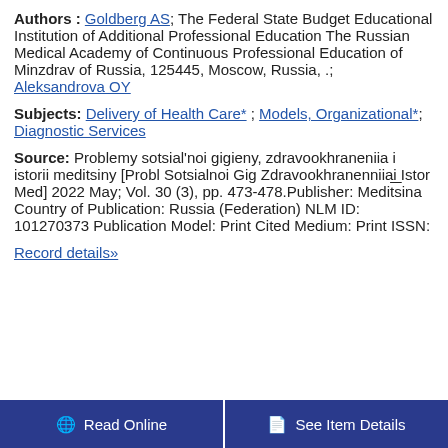Authors : Goldberg AS; The Federal State Budget Educational Institution of Additional Professional Education The Russian Medical Academy of Continuous Professional Education of Minzdrav of Russia, 125445, Moscow, Russia, .; Aleksandrova OY
Subjects: Delivery of Health Care* ; Models, Organizational*; Diagnostic Services
Source: Problemy sotsial'noi gigieny, zdravookhraneniia i istorii meditsiny [Probl Sotsialnoi Gig Zdravookhranenniiai Istor Med] 2022 May; Vol. 30 (3), pp. 473-478.Publisher: Meditsina Country of Publication: Russia (Federation) NLM ID: 101270373 Publication Model: Print Cited Medium: Print ISSN:
Record details»